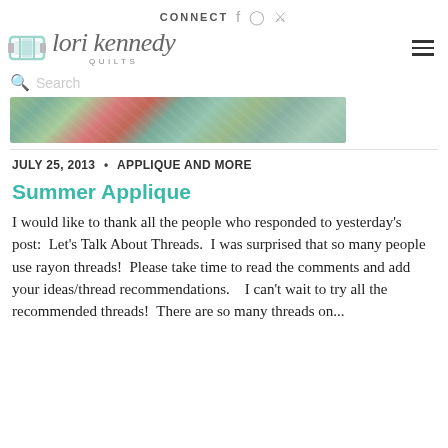CONNECT f ⊙ ℗
[Figure (logo): Lori Kennedy Quilts logo with spool icon and script text]
Search
[Figure (photo): Close-up of quilt fabric in green, pink and teal colors]
JULY 25, 2013 • APPLIQUE AND MORE
Summer Applique
I would like to thank all the people who responded to yesterday's post:  Let's Talk About Threads.  I was surprised that so many people use rayon threads!  Please take time to read the comments and add your ideas/thread recommendations.    I can't wait to try all the recommended threads!  There are so many threads on...